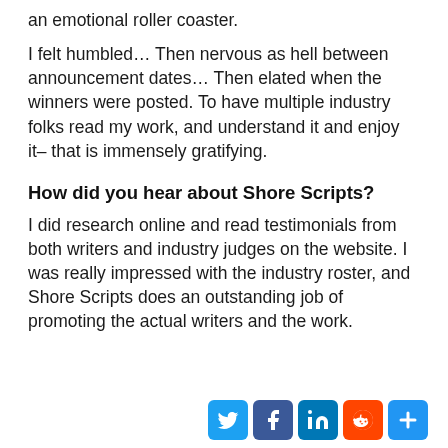an emotional roller coaster.
I felt humbled… Then nervous as hell between announcement dates… Then elated when the winners were posted. To have multiple industry folks read my work, and understand it and enjoy it– that is immensely gratifying.
How did you hear about Shore Scripts?
I did research online and read testimonials from both writers and industry judges on the website. I was really impressed with the industry roster, and Shore Scripts does an outstanding job of promoting the actual writers and the work.
[Figure (infographic): Social media share buttons: Twitter, Facebook, LinkedIn, Reddit, and a generic share button]